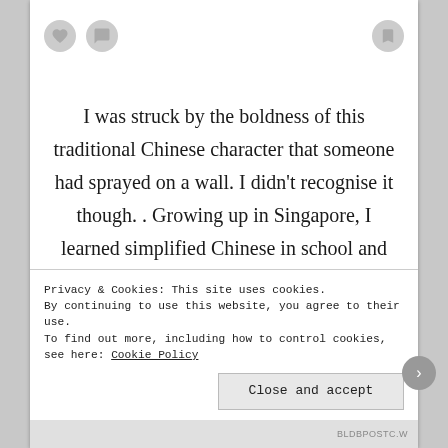[Figure (screenshot): Icon bar with heart, comment bubble icons on left and bookmark icon on right]
I was struck by the boldness of this traditional Chinese character that someone had sprayed on a wall. I didn't recognise it though. . Growing up in Singapore, I learned simplified Chinese in school and disliked the way – rote learning – that it was taught. Now, I wish I had learned traditional Chinese instead. While the characters are more complicated, they are richer in meaning (Chinese being a pictorial
Privacy & Cookies: This site uses cookies. By continuing to use this website, you agree to their use.
To find out more, including how to control cookies, see here: Cookie Policy
Close and accept
BLDBPOSTC.W